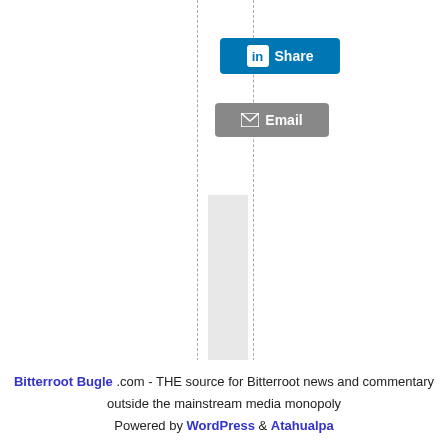[Figure (screenshot): LinkedIn Share button (blue) with 'in' icon and 'Share' text]
[Figure (screenshot): Email button (gray) with envelope icon and 'Email' text]
Category: war l
Bitterroot Bugle .com - THE source for Bitterroot news and commentary outside the mainstream media monopoly Powered by WordPress & Atahualpa